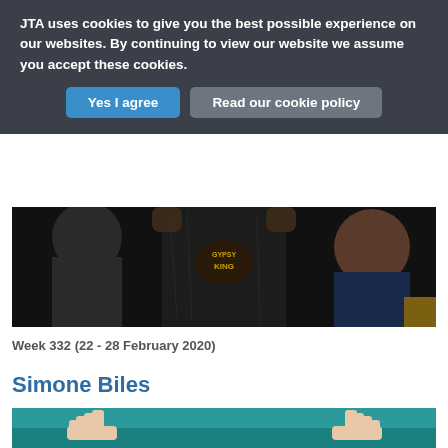JTA uses cookies to give you the best possible experience on our websites. By continuing to view our website we assume you accept these cookies.
Yes I agree
Read our cookie policy
[Figure (photo): A boxer wearing a black 'Gypsy King' sleeveless top with arms raised, flanked by two men, one in black and one in a dark suit.]
Week 332 (22 - 28 February 2020)
Simone Biles
[Figure (photo): A gymnast performing on a teal/turquoise mat, with hands visible spread out near the floor.]